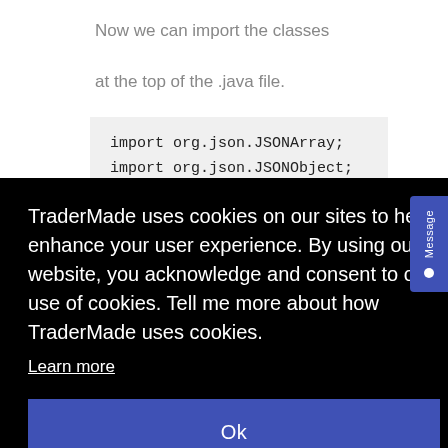Now we can import the classes at the top of the .java file.
import org.json.JSONArray;
import org.json.JSONObject;
We now need to create a
TraderMade uses cookies on our sites to help enhance your user experience. By using our website, you acknowledge and consent to our use of cookies. Tell me more about how TraderMade uses cookies.
Learn more
Ok
parse and output the result